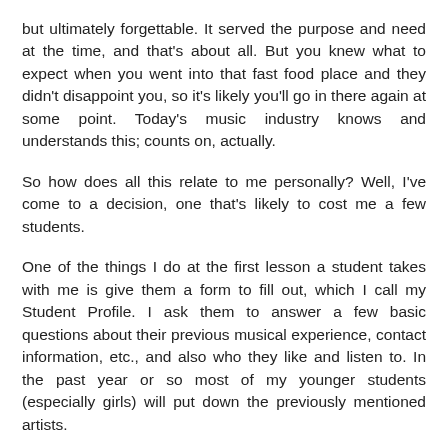but ultimately forgettable. It served the purpose and need at the time, and that's about all. But you knew what to expect when you went into that fast food place and they didn't disappoint you, so it's likely you'll go in there again at some point. Today's music industry knows and understands this; counts on, actually.
So how does all this relate to me personally? Well, I've come to a decision, one that's likely to cost me a few students.
One of the things I do at the first lesson a student takes with me is give them a form to fill out, which I call my Student Profile. I ask them to answer a few basic questions about their previous musical experience, contact information, etc., and also who they like and listen to. In the past year or so most of my younger students (especially girls) will put down the previously mentioned artists.